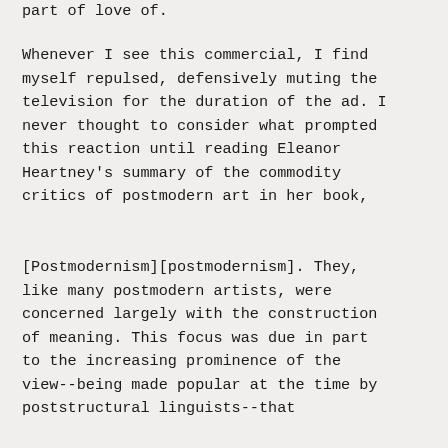part of love of.
Whenever I see this commercial, I find myself repulsed, defensively muting the television for the duration of the ad. I never thought to consider what prompted this reaction until reading Eleanor Heartney's summary of the commodity critics of postmodern art in her book,
[Postmodernism][postmodernism]. They, like many postmodern artists, were concerned largely with the construction of meaning. This focus was due in part to the increasing prominence of the view--being made popular at the time by poststructural linguists--that